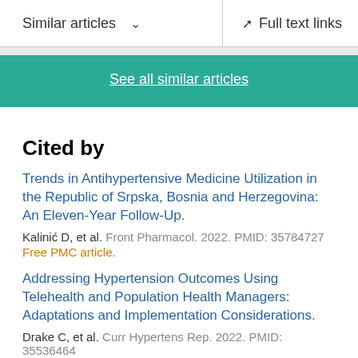Similar articles  ∨   Full text links
See all similar articles
Cited by
Trends in Antihypertensive Medicine Utilization in the Republic of Srpska, Bosnia and Herzegovina: An Eleven-Year Follow-Up.
Kalinić D, et al. Front Pharmacol. 2022. PMID: 35784727
Free PMC article.
Addressing Hypertension Outcomes Using Telehealth and Population Health Managers: Adaptations and Implementation Considerations.
Drake C, et al. Curr Hypertens Rep. 2022. PMID: 35536464